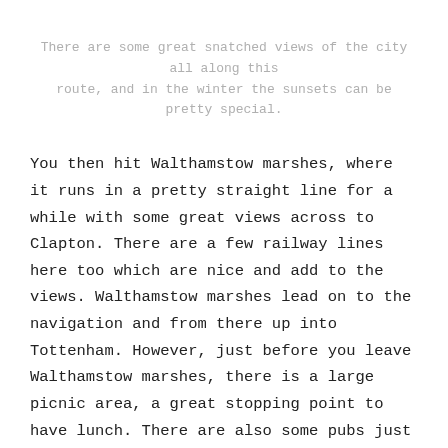There are some great snatched views of the city all along this route, and in the winter the sunsets can be pretty special.
You then hit Walthamstow marshes, where it runs in a pretty straight line for a while with some great views across to Clapton. There are a few railway lines here too which are nice and add to the views. Walthamstow marshes lead on to the navigation and from there up into Tottenham. However, just before you leave Walthamstow marshes, there is a large picnic area, a great stopping point to have lunch. There are also some pubs just as you get to the navigation.